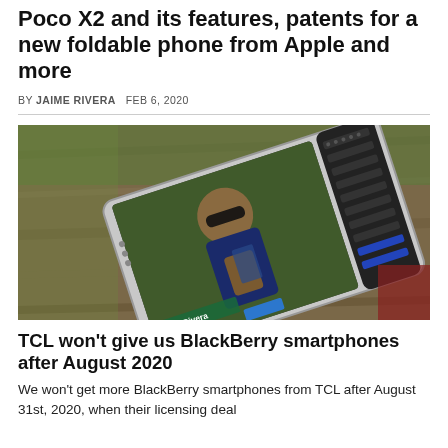Poco X2 and its features, patents for a new foldable phone from Apple and more
BY JAIME RIVERA   FEB 6, 2020
[Figure (photo): A BlackBerry smartphone with physical QWERTY keyboard lying on a wooden surface, screen showing a man with sunglasses taking a selfie labeled 'Jaime Rivera']
TCL won't give us BlackBerry smartphones after August 2020
We won't get more BlackBerry smartphones from TCL after August 31st, 2020, when their licensing deal